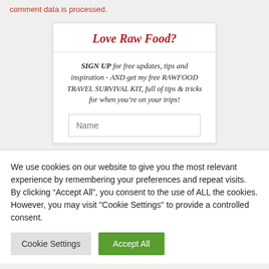comment data is processed.
Love Raw Food?
SIGN UP for free updates, tips and inspiration - AND get my free RAWFOOD TRAVEL SURVIVAL KIT, full of tips & tricks for when you're on your trips!
We use cookies on our website to give you the most relevant experience by remembering your preferences and repeat visits. By clicking "Accept All", you consent to the use of ALL the cookies. However, you may visit "Cookie Settings" to provide a controlled consent.